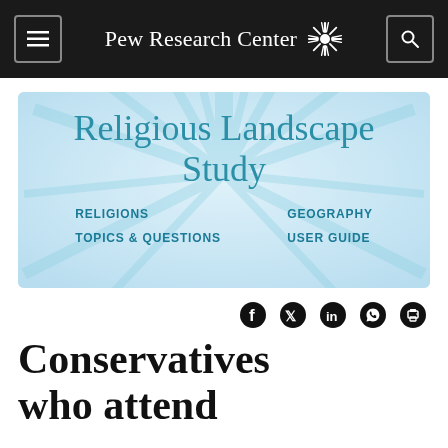Pew Research Center
[Figure (screenshot): Religious Landscape Study banner with light blue sunburst background, containing navigation links: RELIGIONS, GEOGRAPHY, TOPICS & QUESTIONS, USER GUIDE]
[Figure (infographic): Social share icons: Facebook, Twitter, LinkedIn, WhatsApp, Print]
Conservatives who attend